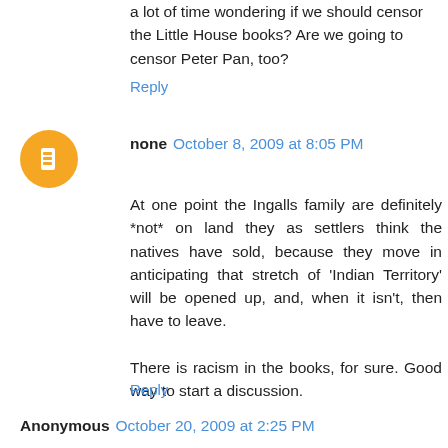a lot of time wondering if we should censor the Little House books? Are we going to censor Peter Pan, too?
Reply
none  October 8, 2009 at 8:05 PM
At one point the Ingalls family are definitely *not* on land they as settlers think the natives have sold, because they move in anticipating that stretch of 'Indian Territory' will be opened up, and, when it isn't, then have to leave.

There is racism in the books, for sure. Good way to start a discussion.
Reply
Anonymous  October 20, 2009 at 2:25 PM
I just finished reading all of the Little House books to my kids (now 10 and almost 8) over the course of a year -- and I mainly started because my 9-year-old balked at the dorkiness of the covers and would not read them on her